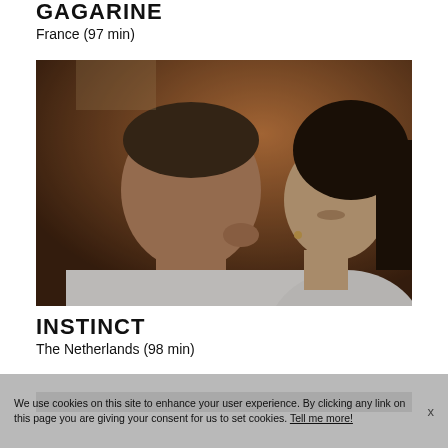GAGARINE
France (97 min)
[Figure (photo): A man and woman in white t-shirts in an intimate close-up pose, the man leaning toward the woman's face, both with eyes closed, warm brown background.]
INSTINCT
The Netherlands (98 min)
[Figure (photo): Dark banner/image partially visible at the bottom of the page.]
We use cookies on this site to enhance your user experience. By clicking any link on this page you are giving your consent for us to set cookies. Tell me more!